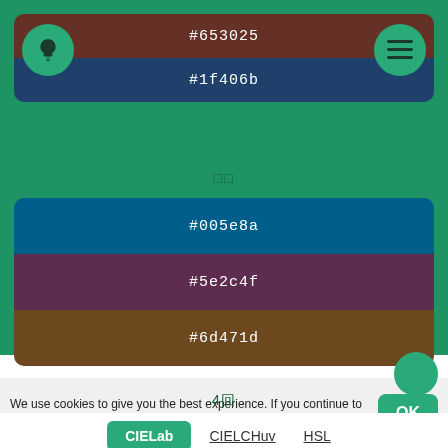[Figure (screenshot): Color palette app showing multiple color swatches with hex codes #653025, #1f406b, #005e8a, #5e2c4f, #6d471d, #00718a, #5e2c4f, #653025 on a green background with CIELab/CIELCHuv/HSL tabs and a cookie consent bar]
#653025
#1f406b
□□
#005e8a
#5e2c4f
#6d471d
4回
#00718a
#5e2c4f
#653025
CIELab   CIELCHuv   HSL
We use cookies to give you the best experience. If you continue to use this site we assume that you are happy with it (privacy policy)